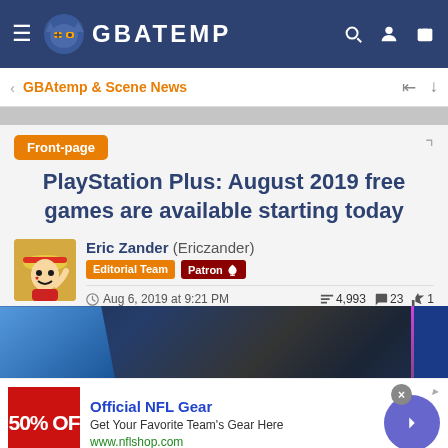GBATEMP
GBAtemp & Scene News
Front-page
PlayStation Plus: August 2019 free games are available starting today
Eric Zander (Ericzander)
Editorial Team | Patron
Aug 6, 2019 at 9:21 PM | 4,993 views | 23 comments | 1 like
[Figure (screenshot): Dark background article header image with blue shape on left and pink vertical line, blue right edge]
[Figure (screenshot): Advertisement banner: NFL Shop - Official NFL Gear, Get Your Favorite Team's Gear Here, www.nflshop.com, with 50% OFF red image]